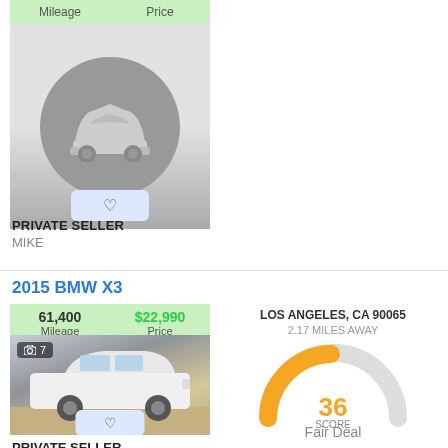[Figure (screenshot): Car listing card (top, partial) showing generic gray car icon on circular background with mileage and price header bar]
PRIVATE SELLER
MIKE
2015 BMW X3
[Figure (photo): Photo of white BMW X3 SUV parked in driveway, with photo count badge showing camera icon and 7]
61,400 Mileage | $22,990 Price
LOS ANGELES, CA 90065
2.17 MILES AWAY
[Figure (infographic): Semicircular gauge/speedometer showing score of 36, with orange filled arc on left and gray on right, labeled SCORE and Fair Deal below]
PRIVATE SELLER